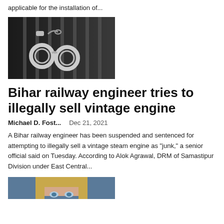applicable for the installation of...
[Figure (photo): Black and white photo of handcuffs hanging on jail bars]
Bihar railway engineer tries to illegally sell vintage engine
Michael D. Fost...   Dec 21, 2021
A Bihar railway engineer has been suspended and sentenced for attempting to illegally sell a vintage steam engine as "junk," a senior official said on Tuesday. According to Alok Agrawal, DRM of Samastipur Division under East Central...
[Figure (photo): Partial photo of a person's face, cropped at bottom of page]